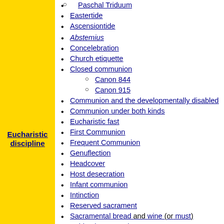Paschal Triduum
Eastertide
Ascensiontide
Abstemius
Concelebration
Church etiquette
Closed communion
Canon 844
Canon 915
Communion and the developmentally disabled
Communion under both kinds
Eucharistic fast
First Communion
Frequent Communion
Genuflection
Headcover
Host desecration
Infant communion
Intinction
Reserved sacrament
Sacramental bread and wine (or must)
Spiritual Communion
Thanksgiving after Communion
Eucharistic discipline